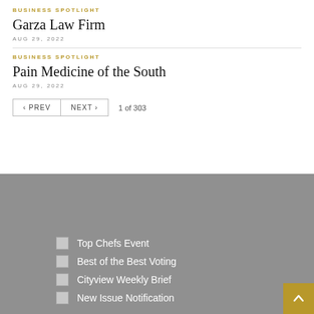BUSINESS SPOTLIGHT
Garza Law Firm
AUG 29, 2022
BUSINESS SPOTLIGHT
Pain Medicine of the South
AUG 29, 2022
◄ PREV   NEXT ►   1 of 303
Top Chefs Event
Best of the Best Voting
Cityview Weekly Brief
New Issue Notification